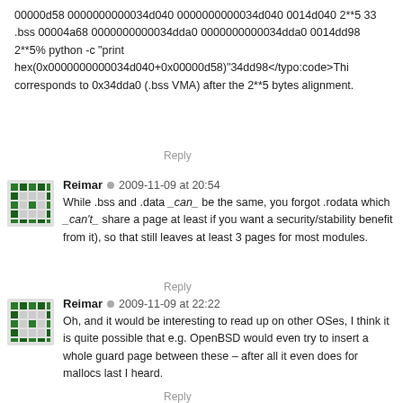00000d58 0000000000034d040 0000000000034d040 0014d040 2**5 33 .bss 00004a68 0000000000034dda0 0000000000034dda0 0014dd98 2**5% python -c "print hex(0x0000000000034d040+0x00000d58)"34dd98</typo:code>This corresponds to 0x34dda0 (.bss VMA) after the 2**5 bytes alignment.
Reply
Reimar · 2009-11-09 at 20:54
While .bss and .data _can_ be the same, you forgot .rodata which _can't_ share a page at least if you want a security/stability benefit from it), so that still leaves at least 3 pages for most modules.
Reply
Reimar · 2009-11-09 at 22:22
Oh, and it would be interesting to read up on other OSes, I think it is quite possible that e.g. OpenBSD would even try to insert a whole guard page between these – after all it even does for mallocs last I heard.
Reply